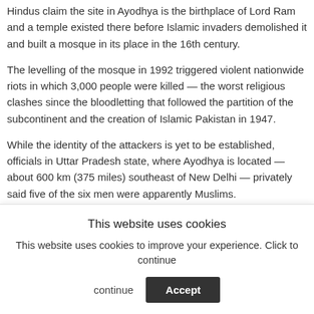Hindus claim the site in Ayodhya is the birthplace of Lord Ram and a temple existed there before Islamic invaders demolished it and built a mosque in its place in the 16th century.
The levelling of the mosque in 1992 triggered violent nationwide riots in which 3,000 people were killed — the worst religious clashes since the bloodletting that followed the partition of the subcontinent and the creation of Islamic Pakistan in 1947.
While the identity of the attackers is yet to be established, officials in Uttar Pradesh state, where Ayodhya is located — about 600 km (375 miles) southeast of New Delhi — privately said five of the six men were apparently Muslims.
This website uses cookies
This website uses cookies to improve your experience. Click to continue
Accept